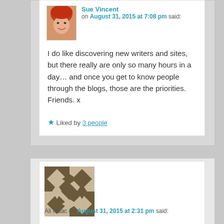Sue Vincent on August 31, 2015 at 7:08 pm said:
I do like discovering new writers and sites, but there really are only so many hours in a day… and once you get to know people through the blogs, those are the priorities. Friends. x
Liked by 3 people
[Figure (photo): Profile photo of Sue Vincent showing a woman with short red/orange hair]
[Figure (illustration): Geometric quilt-style avatar pattern for Ali Isaac in brown and tan colors]
Ali Isaac on August 31, 2015 at 2:31 pm said: